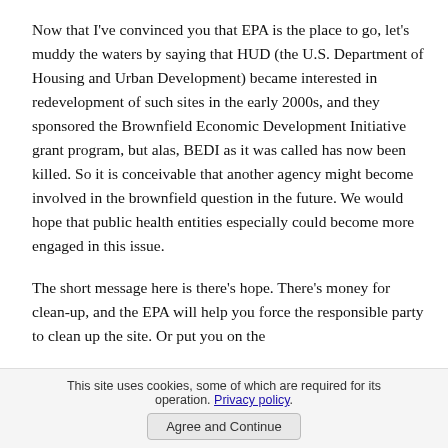Now that I've convinced you that EPA is the place to go, let's muddy the waters by saying that HUD (the U.S. Department of Housing and Urban Development) became interested in redevelopment of such sites in the early 2000s, and they sponsored the Brownfield Economic Development Initiative grant program, but alas, BEDI as it was called has now been killed. So it is conceivable that another agency might become involved in the brownfield question in the future. We would hope that public health entities especially could become more engaged in this issue.
The short message here is there's hope. There's money for clean-up, and the EPA will help you force the responsible party to clean up the site. Or put you on the
This site uses cookies, some of which are required for its operation. Privacy policy. Agree and Continue